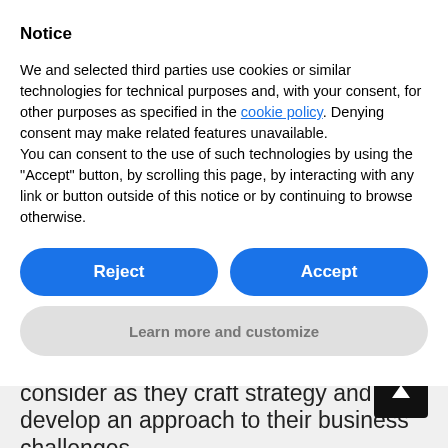Notice
We and selected third parties use cookies or similar technologies for technical purposes and, with your consent, for other purposes as specified in the cookie policy. Denying consent may make related features unavailable.
You can consent to the use of such technologies by using the “Accept” button, by scrolling this page, by interacting with any link or button outside of this notice or by continuing to browse otherwise.
leader in any business to consider as they craft strategy and develop an approach to their business challenges.